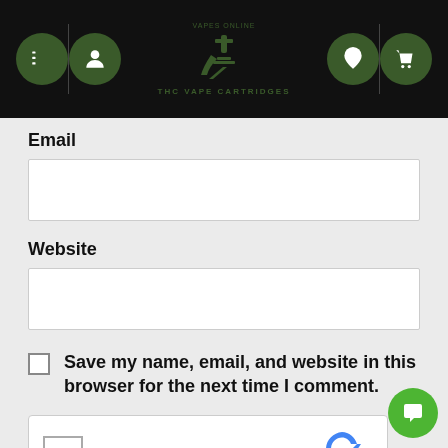THC VAPE CARTRIDGES - Vapes Online
Email
Website
Save my name, email, and website in this browser for the next time I comment.
[Figure (screenshot): reCAPTCHA widget with checkbox labeled I'm not a robot, reCAPTCHA logo, Privacy and Terms links]
POST COMMENT